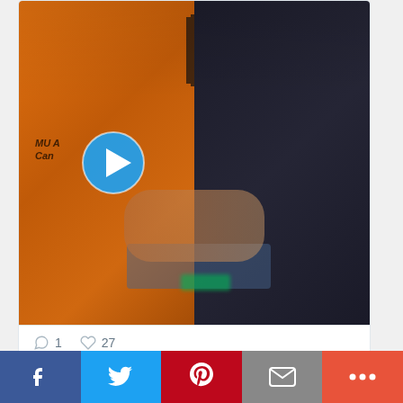[Figure (photo): Video thumbnail showing two people: one in an orange Adidas jersey and one in a dark jacket, with a blue play button overlay in the center]
1   27
Pin Oak Middle School Retweeted
[Figure (screenshot): Partially visible Pin Oak Middle School tweet header with Twitter bird icon]